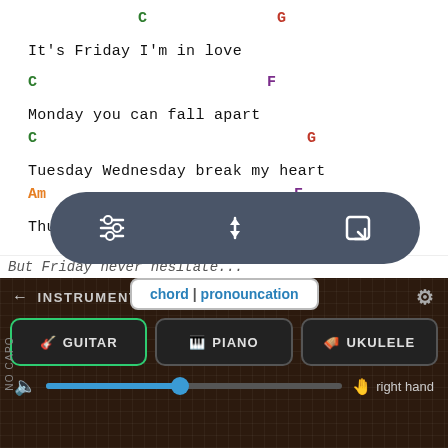C   G
It's Friday I'm in love
C   F
Monday you can fall apart
C   G
Tuesday Wednesday break my heart
Am   F
Thursday doesn't even start
C   G
It's Friday
F   G
[Figure (screenshot): Floating toolbar with three icons: settings sliders, sort arrows, and a resize icon]
chord | pronouncation
INSTRUMENT SETTINGS
GUITAR   PIANO   UKULELE
right hand
But Friday never hesitate...